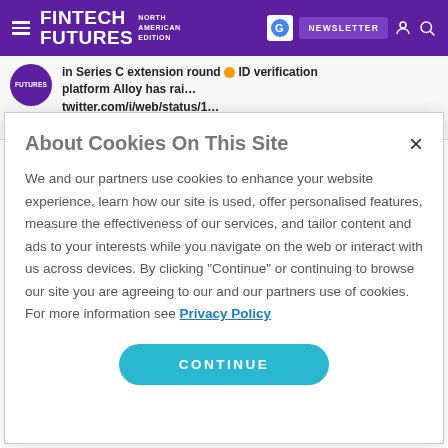FINTECH FUTURES NORTH AMERICAN EDITION — NEWSLETTER
in Series C extension round ID verification platform Alloy has rai… twitter.com/i/web/status/1…
5th September 2022
About Cookies On This Site
We and our partners use cookies to enhance your website experience, learn how our site is used, offer personalised features, measure the effectiveness of our services, and tailor content and ads to your interests while you navigate on the web or interact with us across devices. By clicking "Continue" or continuing to browse our site you are agreeing to our and our partners use of cookies. For more information see Privacy Policy
CONTINUE